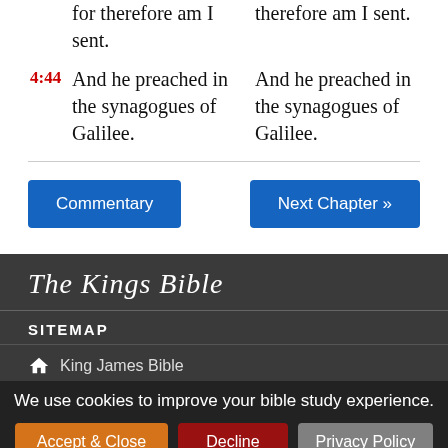for therefore am I sent. [left column partial]
therefore am I sent. [right column partial]
4:44 And he preached in the synagogues of Galilee. [left]
And he preached in the synagogues of Galilee. [right]
Commentary
Next Chapter »
The Kings Bible
SITEMAP
King James Bible
We use cookies to improve your bible study experience.
Accept & Close
Decline
Privacy Policy